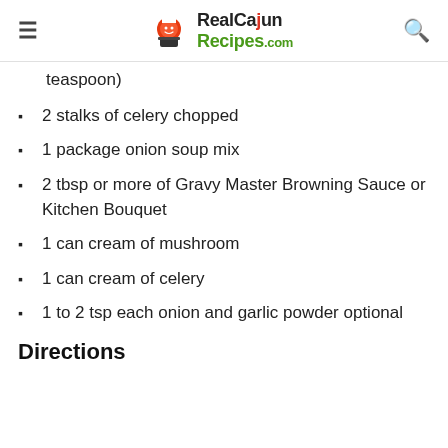RealCajunRecipes.com
teaspoon)
2 stalks of celery chopped
1 package onion soup mix
2 tbsp or more of Gravy Master Browning Sauce or Kitchen Bouquet
1 can cream of mushroom
1 can cream of celery
1 to 2 tsp each onion and garlic powder optional
Directions